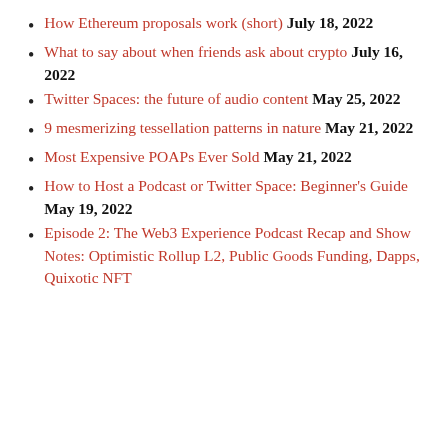How Ethereum proposals work (short) July 18, 2022
What to say about when friends ask about crypto July 16, 2022
Twitter Spaces: the future of audio content May 25, 2022
9 mesmerizing tessellation patterns in nature May 21, 2022
Most Expensive POAPs Ever Sold May 21, 2022
How to Host a Podcast or Twitter Space: Beginner's Guide May 19, 2022
Episode 2: The Web3 Experience Podcast Recap and Show Notes: Optimistic Rollup L2, Public Goods Funding, Dapps, Quixotic NFT